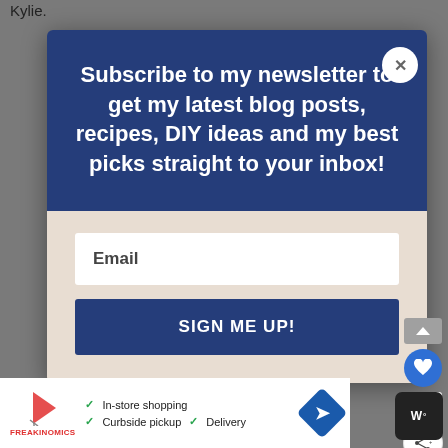Kylie.
[Figure (screenshot): Newsletter subscription modal popup with dark blue header containing bold white text 'Subscribe to my newsletter to get my latest blog posts, recipes, DIY ideas and my best picks straight to your inbox!', a beige/tan lower section with an email input field and a dark blue 'SIGN ME UP!' button, a white circular close button with X in top right, and social share buttons on the right side. Below is an advertisement bar showing in-store shopping, curbside pickup and delivery options.]